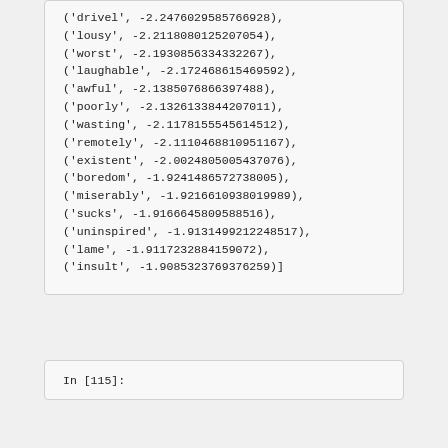('drivel', -2.2476029585766928),
('lousy', -2.2118080125207054),
('worst', -2.1930856334332267),
('laughable', -2.172468615469592),
('awful', -2.1385076866397488),
('poorly', -2.1326133844207011),
('wasting', -2.1178155545614512),
('remotely', -2.1110468810951167),
('existent', -2.0024805005437076),
('boredom', -1.9241486572738005),
('miserably', -1.9216610938019989),
('sucks', -1.9166645809588516),
('uninspired', -1.9131499212248517),
('lame', -1.9117232884159072),
('insult', -1.9085323769376259)]
In [115]: